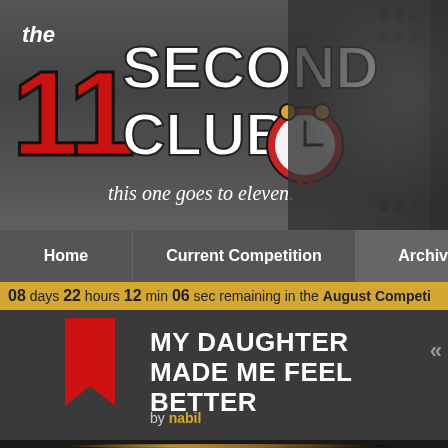[Figure (logo): The 11 Second Club logo with red '11' numerals, white 'SECOND CLUB' text, a cartoon alarm clock, tagline 'this one goes to eleven.' on dark grey background with film reel]
Home | Current Competition | Archives | For
08 days 22 hours 12 min 06 sec remaining in the August Competi
MY DAUGHTER MADE ME FEEL BETTER
by nabil
[Figure (photo): Partial photo of a blonde person, dark background, cropped at bottom of page]